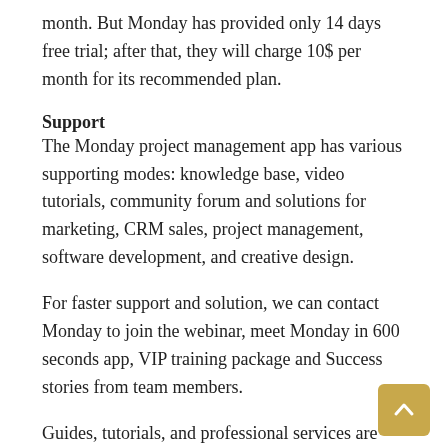month. But Monday has provided only 14 days free trial; after that, they will charge 10$ per month for its recommended plan.
Support
The Monday project management app has various supporting modes: knowledge base, video tutorials, community forum and solutions for marketing, CRM sales, project management, software development, and creative design.
For faster support and solution, we can contact Monday to join the webinar, meet Monday in 600 seconds app, VIP training package and Success stories from team members.
Guides, tutorials, and professional services are available for account setup, training, onboarding, and tools integration with Monday workflow.
Slack uses a knowledge base with articles for different